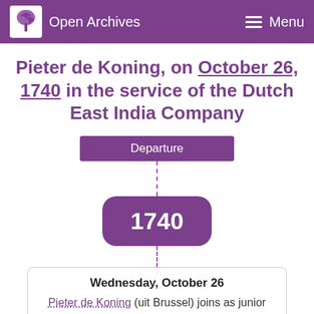Open Archives | Menu
Pieter de Koning, on October 26, 1740 in the service of the Dutch East India Company
Departure
1740
Wednesday, October 26
Pieter de Koning (uit Brussel) joins as junior ordinary seaman with chamber Zeeland. Departure of the ship Woitkensdorp bound for Batavia